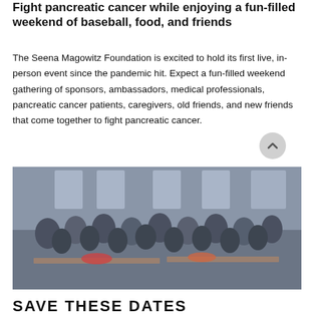Fight pancreatic cancer while enjoying a fun-filled weekend of baseball, food, and friends
The Seena Magowitz Foundation is excited to hold its first live, in-person event since the pandemic hit. Expect a fun-filled weekend gathering of sponsors, ambassadors, medical professionals, pancreatic cancer patients, caregivers, old friends, and new friends that come together to fight pancreatic cancer.
[Figure (photo): Large group photo of event attendees gathered indoors at tables with food, wearing name badges and lanyards.]
SAVE THESE DATES